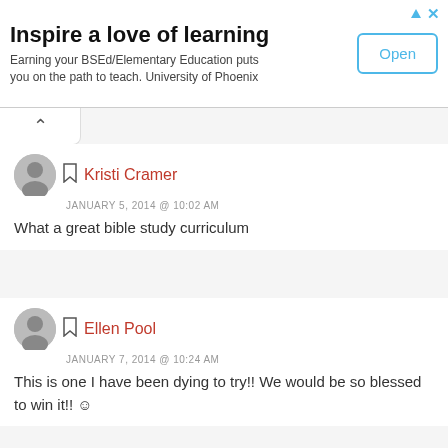[Figure (screenshot): Advertisement banner: 'Inspire a love of learning' - University of Phoenix ad with Open button]
Kristi Cramer
JANUARY 5, 2014 @ 10:02 AM
What a great bible study curriculum
Ellen Pool
JANUARY 7, 2014 @ 10:24 AM
This is one I have been dying to try!! We would be so blessed to win it!! ☺
Wendy